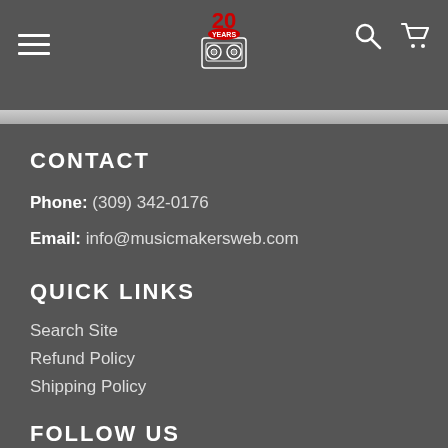Music Makers 20 Years logo with hamburger menu, search, and cart icons
CONTACT
Phone: (309) 342-0176
Email: info@musicmakersweb.com
QUICK LINKS
Search Site
Refund Policy
Shipping Policy
FOLLOW US